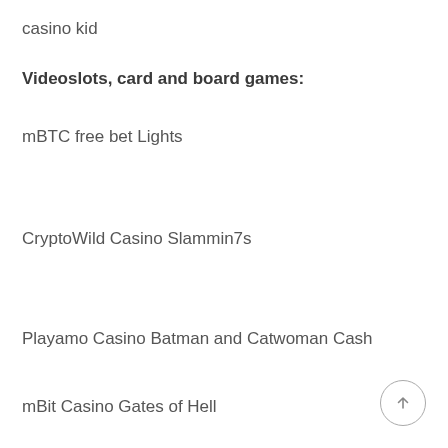casino kid
Videoslots, card and board games:
mBTC free bet Lights
CryptoWild Casino Slammin7s
Playamo Casino Batman and Catwoman Cash
mBit Casino Gates of Hell